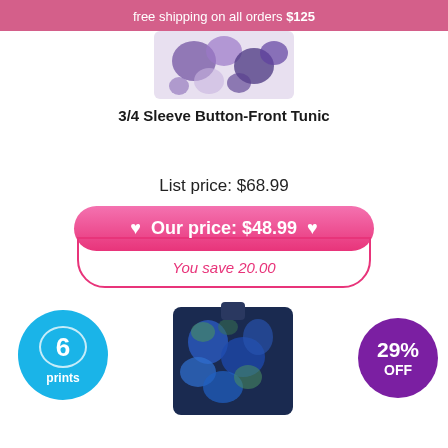free shipping on all orders $125
[Figure (photo): Partial view of a 3/4 sleeve button-front tunic with purple floral print pattern]
3/4 Sleeve Button-Front Tunic
List price: $68.99
♥  Our price: $48.99  ♥
You save 20.00
[Figure (photo): Blue floral print tunic/top garment shown at the bottom of the page]
6 prints
29% OFF